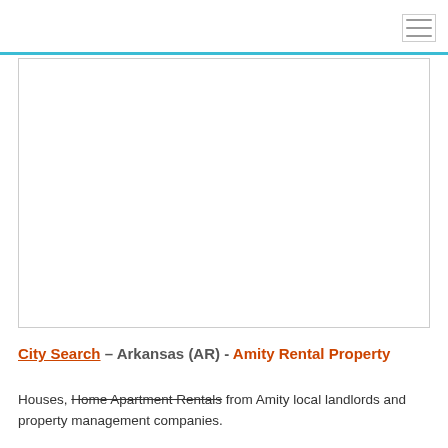[Figure (map): Empty white map area placeholder with a light gray border]
City Search – Arkansas (AR) - Amity Rental Property
Houses, Home Apartment Rentals from Amity local landlords and property management companies.